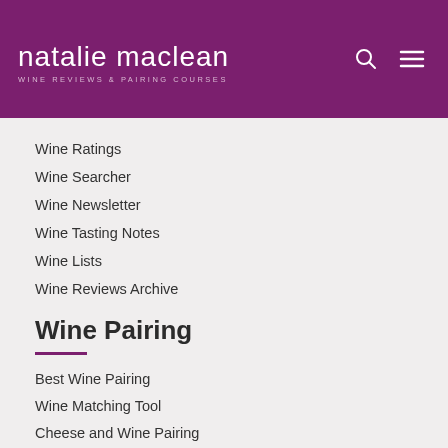nataliemaclean WINE REVIEWS & PAIRING COURSES
Wine Ratings
Wine Searcher
Wine Newsletter
Wine Tasting Notes
Wine Lists
Wine Reviews Archive
Wine Pairing
Best Wine Pairing
Wine Matching Tool
Cheese and Wine Pairing
Red Wine Pairing
White Wine Pairing
Wine Recipes